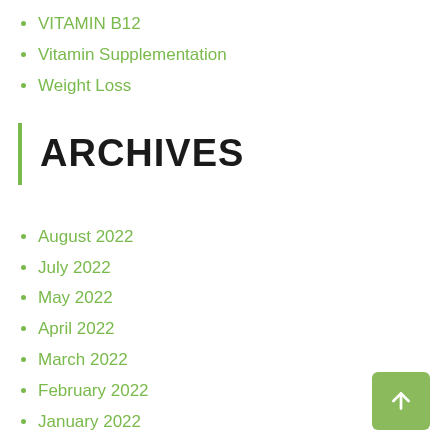VITAMIN B12
Vitamin Supplementation
Weight Loss
ARCHIVES
August 2022
July 2022
May 2022
April 2022
March 2022
February 2022
January 2022